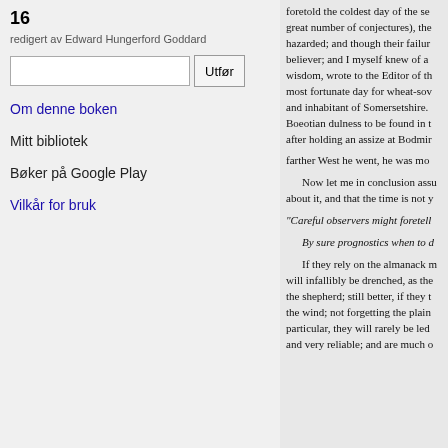16
redigert av Edward Hungerford Goddard
Om denne boken
Mitt bibliotek
Bøker på Google Play
Vilkår for bruk
foretold the coldest day of the se great number of conjectures), the hazarded; and though their failur believer; and I myself knew of a wisdom, wrote to the Editor of th most fortunate day for wheat-sov and inhabitant of Somersetshire. Boeotian dulness to be found in t after holding an assize at Bodmir farther West he went, he was mo Now let me in conclusion assu about it, and that the time is not y "Careful observers might foretell By sure prognostics when to d If they rely on the almanack m will infallibly be drenched, as the the shepherd; still better, if they t the wind; not forgetting the plain particular, they will rarely be led and very reliable; and are much o